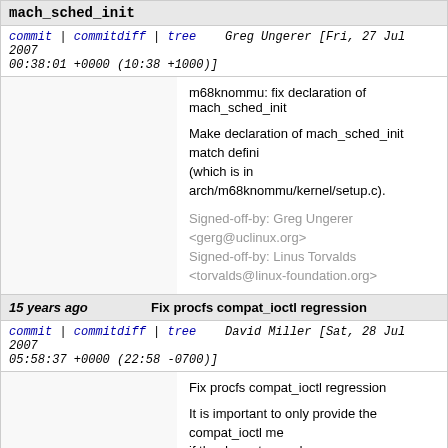mach_sched_init
commit | commitdiff | tree   Greg Ungerer [Fri, 27 Jul 2007 00:38:01 +0000 (10:38 +1000)]
m68knommu: fix declaration of mach_sched_init

Make declaration of mach_sched_init match definition (which is in arch/m68knommu/kernel/setup.c).

Signed-off-by: Greg Ungerer <gerg@uclinux.org>
Signed-off-by: Linus Torvalds <torvalds@linux-foundation.org>
15 years ago   Fix procfs compat_ioctl regression
commit | commitdiff | tree   David Miller [Sat, 28 Jul 2007 05:58:37 +0000 (22:58 -0700)]
Fix procfs compat_ioctl regression

It is important to only provide the compat_ioctl method if the downstream de->proc_fops does too, otherwise this utterly confuses the logic in fs/compat_ioctl.c and things end up doing the wrong thing.

Signed-off-by: David S. Miller <davem@davemloft.net>
Acked-by: Alexey Dobriyan